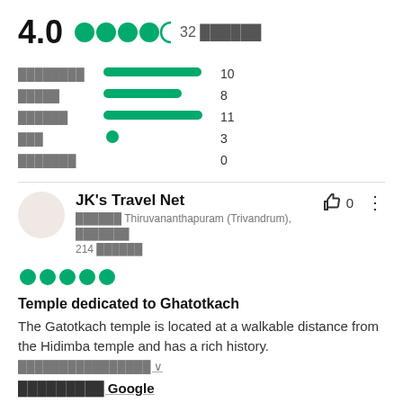4.0  ●●●●○  32 ██████
[Figure (bar-chart): Rating breakdown]
JK's Travel Net
███████ Thiruvananthapuram (Trivandrum), ███████ 214 ██████
Temple dedicated to Ghatotkach
The Gatotkach temple is located at a walkable distance from the Hidimba temple and has a rich history.
████████████████ ∨
█████████ Google